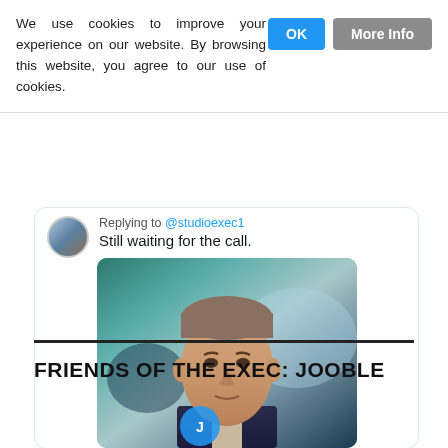We use cookies to improve your experience on our website. By browsing this website, you agree to our use of cookies.
Replying to @studioexec1
Still waiting for the call.
[Figure (photo): Photo of a middle-aged man with a serious expression, wearing a dark suit, against a blue/teal blurred background.]
FRIENDS OF THE EXEC: JOOBLE
[Figure (logo): Partial Jooble logo at bottom of page]